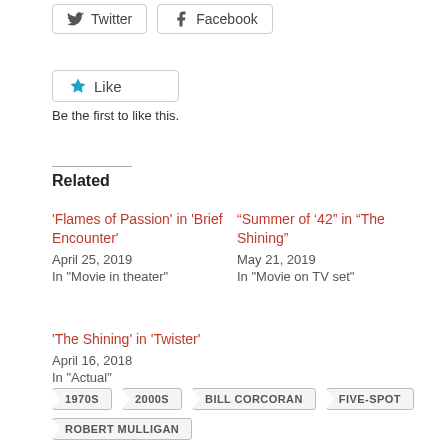[Figure (other): Social share buttons: Twitter and Facebook]
[Figure (other): Like button widget with star icon]
Be the first to like this.
Related
'Flames of Passion' in 'Brief Encounter'
April 25, 2019
In "Movie in theater"
“Summer of ’42” in “The Shining”
May 21, 2019
In "Movie on TV set"
'The Shining' in 'Twister'
April 16, 2018
In "Actual"
1970S
2000S
BILL CORCORAN
FIVE-SPOT
ROBERT MULLIGAN